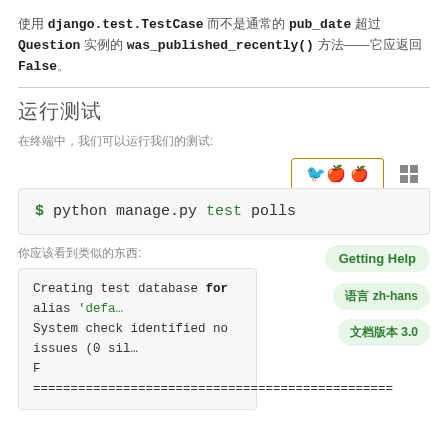使用 django.test.TestCase 而不是通常的 pub_date 超过 Question 实例的 was_published_recently() 方法——它应返回 False。
运行测试
在终端中，我们可以运行我们的测试:
$ python manage.py test polls
你应该看到类似的东西:
Creating test database for alias 'defa...
System check identified no issues (0 sil...
F
========================================